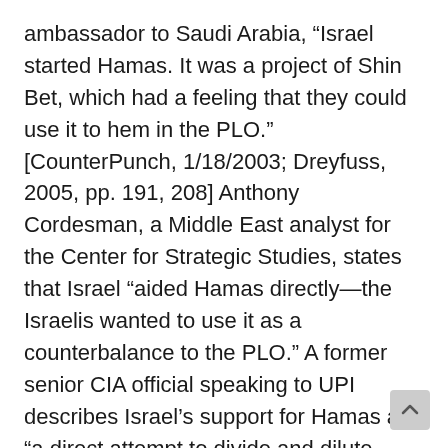ambassador to Saudi Arabia, “Israel started Hamas. It was a project of Shin Bet, which had a feeling that they could use it to hem in the PLO.” [CounterPunch, 1/18/2003; Dreyfuss, 2005, pp. 191, 208] Anthony Cordesman, a Middle East analyst for the Center for Strategic Studies, states that Israel “aided Hamas directly—the Israelis wanted to use it as a counterbalance to the PLO.” A former senior CIA official speaking to UPI describes Israel’s support for Hamas as “a direct attempt to divide and dilute support for a strong, secular PLO by using a competing religious alternative.” Further, according to an unnamed US government official, “the thinking on the part of some of the right-wing Israeli establishment was that Hamas and the other groups, if they gained control, would refuse to have anything to do with